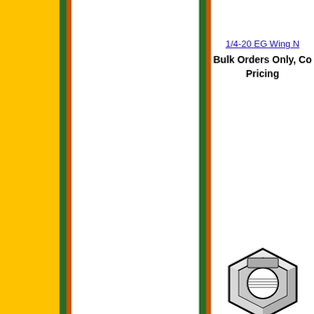1/4-20 EG Wing N...
Bulk Orders Only, Co... Pricing
[Figure (illustration): Technical illustration of a hexagonal nylon insert lock nut, shown in black and white with threaded interior visible]
1/4-20 NC Nylon Inser...
Bulk Orders Only, Co... Pricing